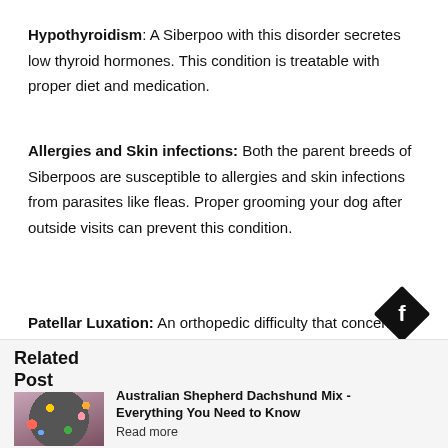Hypothyroidism: A Siberpoo with this disorder secretes low thyroid hormones. This condition is treatable with proper diet and medication.
Allergies and Skin infections: Both the parent breeds of Siberpoos are susceptible to allergies and skin infections from parasites like fleas. Proper grooming your dog after outside visits can prevent this condition.
[Figure (logo): Black diamond-shaped Facebook icon with white 'f' letter]
Patellar Luxation: An orthopedic difficulty that concerns small canines often. This condition occurs when one or both the dog's kneecaps dislocate due to an accident or a trauma.
Related Post
[Figure (photo): Person wearing colorful clothing, blurred background with colorful lights]
Australian Shepherd Dachshund Mix - Everything You Need to Know Read more